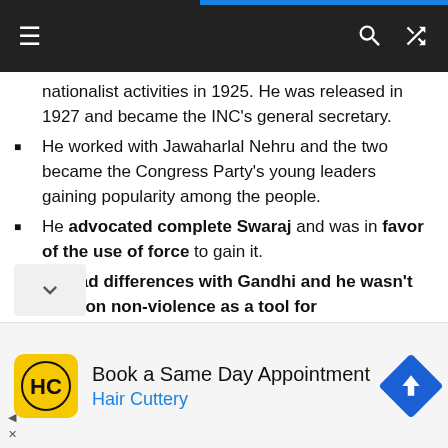≡  [search] [shuffle]
nationalist activities in 1925. He was released in 1927 and became the INC's general secretary.
He worked with Jawaharlal Nehru and the two became the Congress Party's young leaders gaining popularity among the people.
He advocated complete Swaraj and was in favor of the use of force to gain it.
He had differences with Gandhi and he wasn't keen on non-violence as a tool for independence.
Bose stood for and was elected the party's president in 1939 but was forced to resign due to differences with Gandhi's supporters.
[Figure (infographic): Advertisement banner: Hair Cuttery 'Book a Same Day Appointment' ad with yellow HC logo and blue navigation arrow icon]